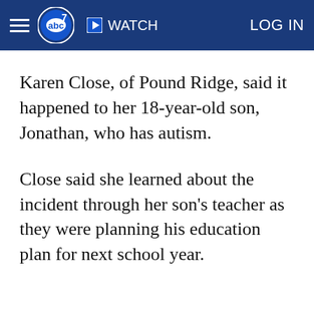abc7 WATCH LOG IN
Karen Close, of Pound Ridge, said it happened to her 18-year-old son, Jonathan, who has autism.
Close said she learned about the incident through her son's teacher as they were planning his education plan for next school year.